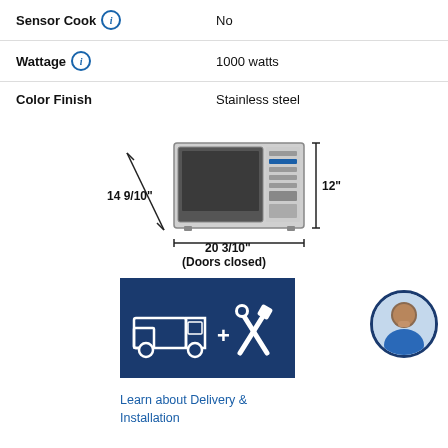| Attribute | Value |
| --- | --- |
| Sensor Cook | No |
| Wattage | 1000 watts |
| Color Finish | Stainless steel |
[Figure (engineering-diagram): Microwave oven dimension diagram showing 14 9/10" depth, 20 3/10" width (doors closed), and 12" height]
[Figure (infographic): Delivery and installation banner with truck and tools icons on dark blue background]
Learn about Delivery & Installation
[Figure (photo): Partial view of people, bottom of page]